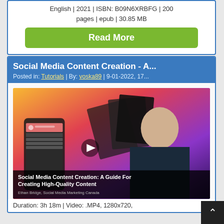English | 2021 | ISBN: B09N6XRBFG | 200 pages | epub | 30.85 MB
Read More
Social Media Content Creation - A...
Posted in: Tutorials | By: voska89 | 9-01-2022, 17...
[Figure (screenshot): Thumbnail image for 'Social Media Content Creation: A Guide For Creating High-Quality Content' video course by Ethan Bridge, Social Media Marketing Canada, showing a man in a dark jacket against a colorful gradient background with social media graphics and phone mockups.]
Duration: 3h 18m | Video: .MP4, 1280x720,